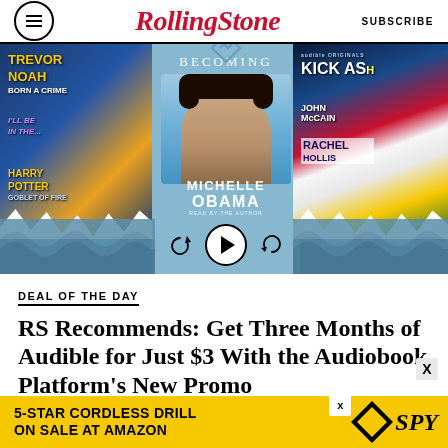Rolling Stone | SUBSCRIBE
[Figure (photo): Audible audiobooks promotional image showing three panels: left panel with Harry Potter and Trevor Noah book covers, center panel with Michelle Obama's Becoming audiobook cover with audio player controls, right panel with John McCain and Rachel hollis book covers. Blue wave decorative background.]
DEAL OF THE DAY
RS Recommends: Get Three Months of Audible for Just $3 With the Audiobook Platform's New Promo
[Figure (other): Advertisement banner: 5-STAR CORDLESS DRILL ON SALE AT AMAZON / SPY logo on yellow background]